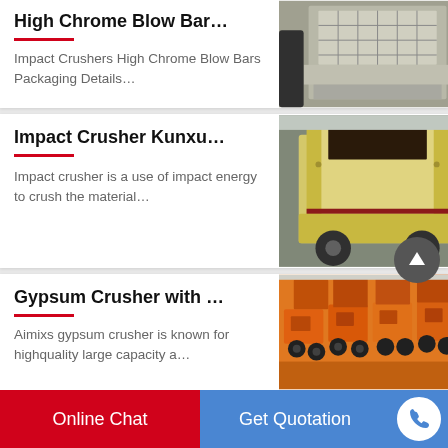[Figure (photo): High Chrome Blow Bar product card - partial top view showing industrial crusher machine in warehouse]
Impact Crushers High Chrome Blow Bars Packaging Details…
Impact Crusher Kunxu…
[Figure (photo): Impact Crusher Kunxu - yellow impact crusher machine in industrial setting]
Impact crusher is a use of impact energy to crush the material…
Gypsum Crusher with …
[Figure (photo): Gypsum Crusher - rows of orange portable crushers in warehouse]
Aimixs gypsum crusher is known for highquality large capacity a…
Online Chat
Get Quotation